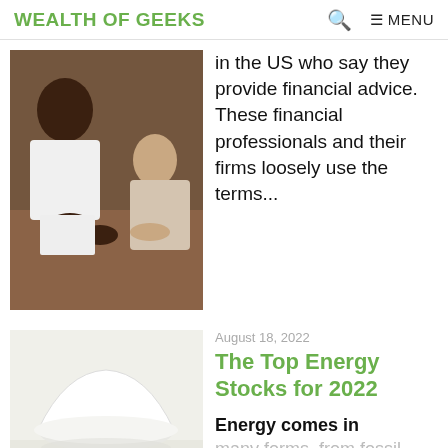WEALTH OF GEEKS
in the US who say they provide financial advice. These financial professionals and their firms loosely use the terms…
[Figure (photo): Two people sitting at a table with papers, hands visible, financial consultation scene]
August 18, 2022
The Top Energy Stocks for 2022
Energy comes in many forms, from fossil fuels to
[Figure (photo): White hard hat resting on a reflective surface, energy/construction theme]